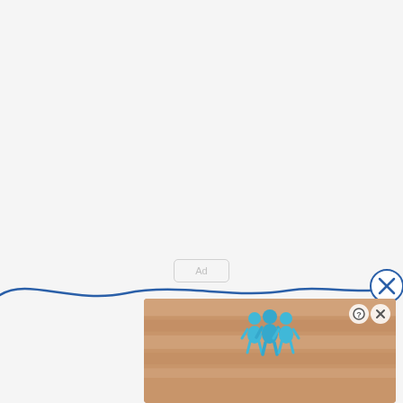[Figure (other): Ad placeholder label centered on light gray background]
[Figure (other): Wavy blue decorative line across the bottom portion of the page with a close (X) circle button on the right side]
[Figure (other): Banner advertisement showing 'Hold and Move' game with teal figures icons on a sandy/wooden background, with help and close buttons in the top right]